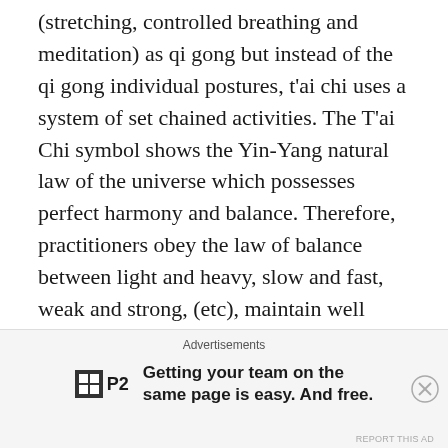(stretching, controlled breathing and meditation) as qi gong but instead of the qi gong individual postures, t'ai chi uses a system of set chained activities. The T'ai Chi symbol shows the Yin-Yang natural law of the universe which possesses perfect harmony and balance. Therefore, practitioners obey the law of balance between light and heavy, slow and fast, weak and strong, (etc), maintain well controlled breathing, avoid jerky motions, over strenuous movements, etc. Every movement is synchronized with respiration. The concerted contractions of the muscle groups requires gentle oxygen intake and then join together and converge into a state of qi establishment.

Both qi gong and t'ai chi practice have been medically
[Figure (other): Advertisement banner: P2 logo (white grid/table icon in black box) with text 'Getting your team on the same page is easy. And free.' with a close (X) button and 'REPORT THIS AD' link at bottom right.]